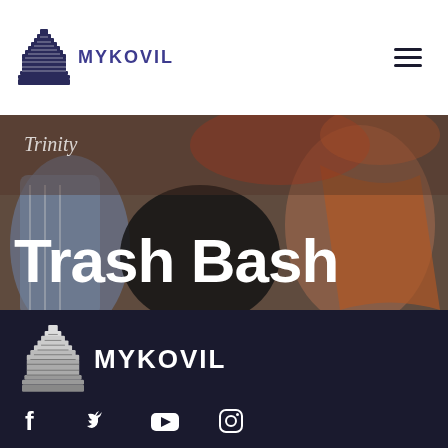[Figure (logo): MyKovil logo with temple gopuram icon and text MYKOVIL in purple, top navigation bar]
[Figure (photo): Festival crowd photo with people in colorful clothes, used as hero background]
Trinity
Trash Bash
[Figure (logo): MyKovil logo large white version on dark background in footer]
[Figure (infographic): Social media icons: Facebook, Twitter, YouTube, Instagram on dark background]